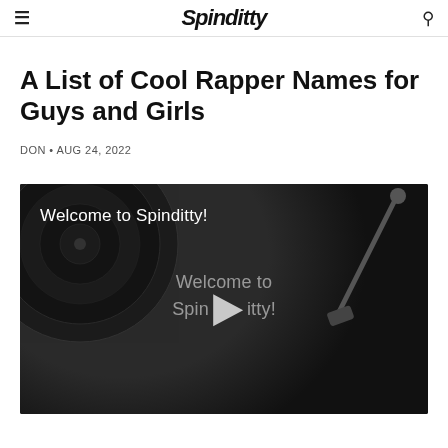Spinditty
A List of Cool Rapper Names for Guys and Girls
DON • AUG 24, 2022
[Figure (screenshot): Video thumbnail showing a dark vinyl record turntable with tonearm. Text overlay reads 'Welcome to Spinditty!' at top left. Center shows semi-transparent text 'Welcome to Spinditty!' with a play button triangle.]